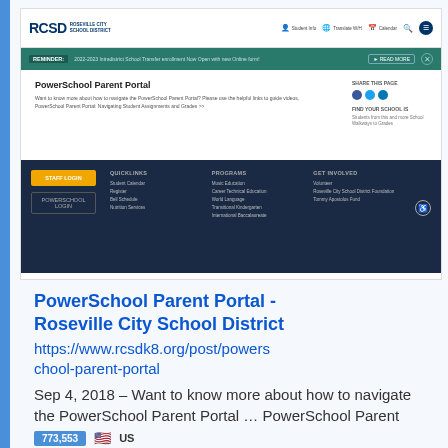[Figure (screenshot): Screenshot of the Roseville City School District (RCSD) website showing the PowerSchool Parent Portal page with navigation bar, green reminder banner, page content, and dark footer with login buttons.]
PowerSchool Parent Portal - Roseville City School District
https://www.rcsdk8.org/post/powerschool-parent-portal
Sep 4, 2018 – Want to know more about how to navigate the PowerSchool Parent Portal … PowerSchool Parent Portal | Navigating Student Assignments and …